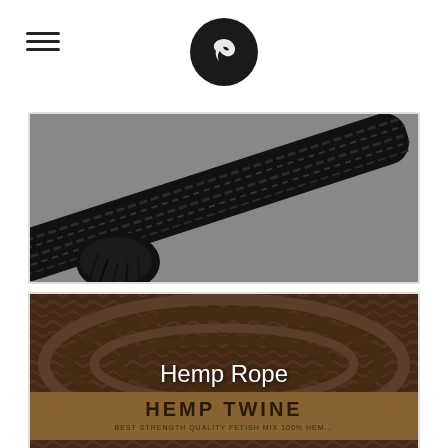Navigation header with hamburger menu and circular logo
[Figure (photo): Close-up photo of black twisted rope on grey background, diagonal composition]
[Figure (photo): Close-up photo of brown hemp twine rope coiled in a bundle with a label reading HEMP TWINE, overlaid with white text reading Hemp Rope]